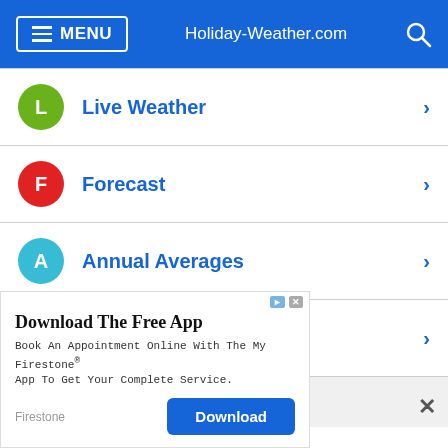MENU   Holiday-Weather.com
Live Weather
Forecast
Annual Averages
Monthly Averages
[Figure (screenshot): Partially visible navigation items at bottom]
Download The Free App
Book An Appointment Online With The My Firestone® App To Get Your Complete Service.
Firestone   Download